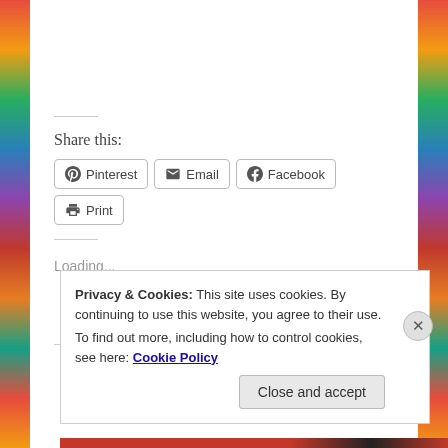Share this:
Pinterest | Email | Facebook | Print
Loading...
Privacy & Cookies: This site uses cookies. By continuing to use this website, you agree to their use.
To find out more, including how to control cookies, see here: Cookie Policy
Close and accept